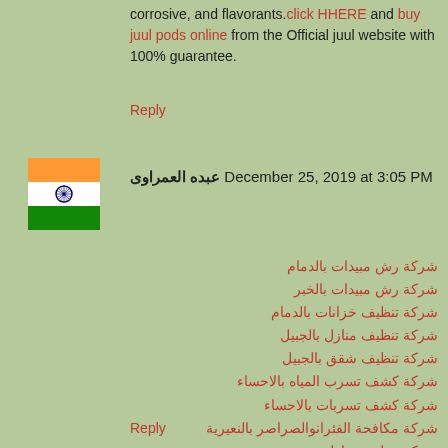corrosive, and flavorants.click HHERE and buy juul pods online from the Official juul website with 100% guarantee.
Reply
[Figure (illustration): Indian flag avatar/icon]
عبده العمراوى December 25, 2019 at 3:05 PM
شركة رش مبيدات بالدمام
شركة رش مبيدات بالخبر
شركة تنظيف خزانات بالدمام
شركة تنظيف منازل بالجبيل
شركة تنظيف شقق بالجبيل
شركة كشف تسرب المياه بالاحساء
شركة كشف تسربات بالاحساء
شركة مكافحة الفئرانوالصراصر بالنعيرية
شركة تنظيف منازل بصفوى
شركة مكافحة بق الفراش بالنعيرية
Reply